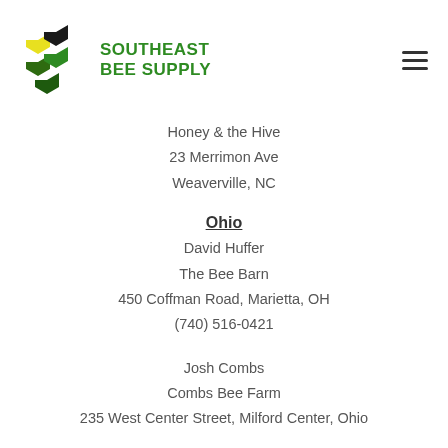SOUTHEAST BEE SUPPLY
Honey & the Hive
23 Merrimon Ave
Weaverville, NC
Ohio
David Huffer
The Bee Barn
450 Coffman Road, Marietta, OH
(740) 516-0421
Josh Combs
Combs Bee Farm
235 West Center Street, Milford Center, Ohio
Leon Miller